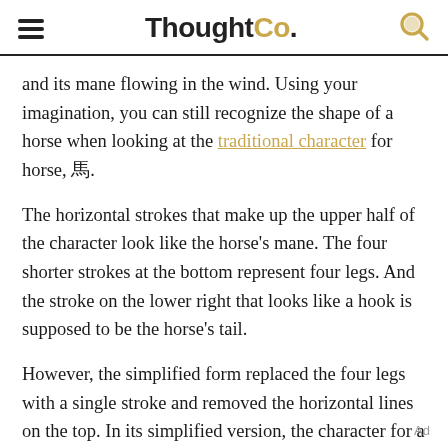ThoughtCo.
and its mane flowing in the wind. Using your imagination, you can still recognize the shape of a horse when looking at the traditional character for horse, 馬.
The horizontal strokes that make up the upper half of the character look like the horse's mane. The four shorter strokes at the bottom represent four legs. And the stroke on the lower right that looks like a hook is supposed to be the horse's tail.
However, the simplified form replaced the four legs with a single stroke and removed the horizontal lines on the top. In its simplified version, the character for a horse in Chinese looks like 马.
Ad